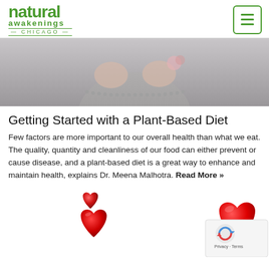natural awakenings CHICAGO
[Figure (photo): Cropped photo of a person in a grey outfit, showing torso and hands, upper portion of the image]
Getting Started with a Plant-Based Diet
Few factors are more important to our overall health than what we eat. The quality, quantity and cleanliness of our food can either prevent or cause disease, and a plant-based diet is a great way to enhance and maintain health, explains Dr. Meena Malhotra. Read More »
[Figure (illustration): Red 3D heart shapes illustration at the bottom of the page, partially cropped]